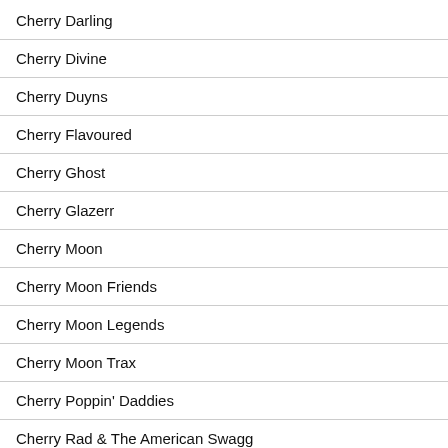Cherry Darling
Cherry Divine
Cherry Duyns
Cherry Flavoured
Cherry Ghost
Cherry Glazerr
Cherry Moon
Cherry Moon Friends
Cherry Moon Legends
Cherry Moon Trax
Cherry Poppin' Daddies
Cherry Rad & The American Swagg
Cherry Red